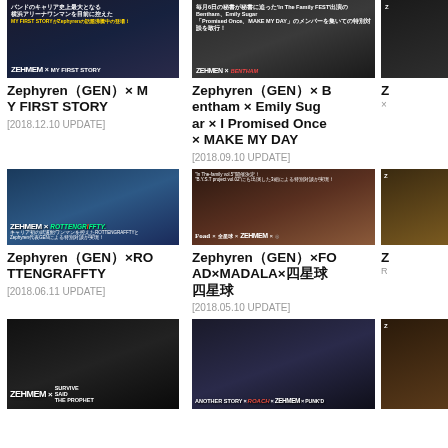[Figure (photo): Band photo dark background - Zephyren GEN x MY FIRST STORY thumbnail]
Zephyren（GEN）× MY FIRST STORY
[2018.12.10 UPDATE]
[Figure (photo): Group band photo - Zephyren GEN x Bentham x Emily Sugar x I Promised Once x MAKE MY DAY]
Zephyren（GEN）× Bentham × Emily Sugar × I Promised Once × MAKE MY DAY
[2018.09.10 UPDATE]
[Figure (photo): Partial third column thumbnail row 1]
[Figure (photo): Band members toasting - Zephyren GEN x ROTTENGRAFFTY]
Zephyren（GEN）×ROTTENGRAFFTY
[2018.06.11 UPDATE]
[Figure (photo): Band members at bar table - Zephyren GEN x FOAD x MADALA]
Zephyren（GEN）×FOAD×MADALA×四星球
[2018.05.10 UPDATE]
[Figure (photo): Partial third column thumbnail row 2]
[Figure (photo): Band photo dark - Zephyren x SURVIVE SAID THE PROPHET]
[Figure (photo): Group band photo - ANOTHER STORY x ROACH x ZEPHYREN x PUNK'D]
[Figure (photo): Partial third column thumbnail row 3]